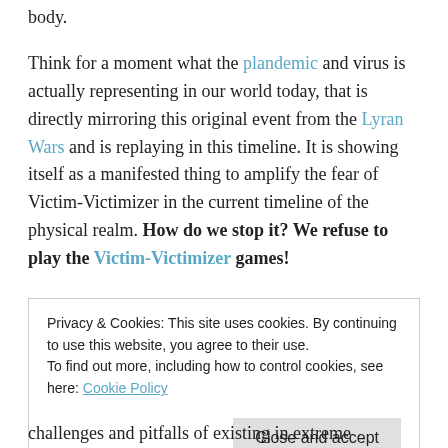body.
Think for a moment what the plandemic and virus is actually representing in our world today, that is directly mirroring this original event from the Lyran Wars and is replaying in this timeline. It is showing itself as a manifested thing to amplify the fear of Victim-Victimizer in the current timeline of the physical realm. How do we stop it? We refuse to play the Victim-Victimizer games!
Privacy & Cookies: This site uses cookies. By continuing to use this website, you agree to their use.
To find out more, including how to control cookies, see here: Cookie Policy
challenges and pitfalls of existing in extreme